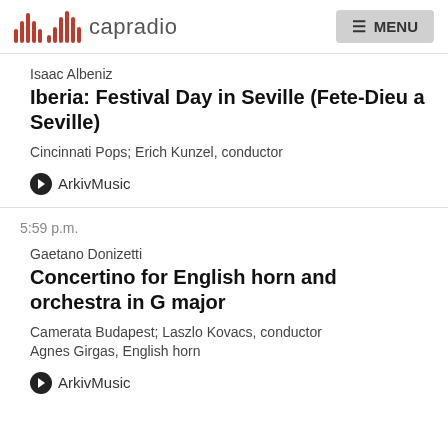capradio  MENU
Isaac Albeniz
Iberia: Festival Day in Seville (Fete-Dieu a Seville)
Cincinnati Pops; Erich Kunzel, conductor
ArkivMusic
5:59 p.m.
Gaetano Donizetti
Concertino for English horn and orchestra in G major
Camerata Budapest; Laszlo Kovacs, conductor
Agnes Girgas, English horn
ArkivMusic